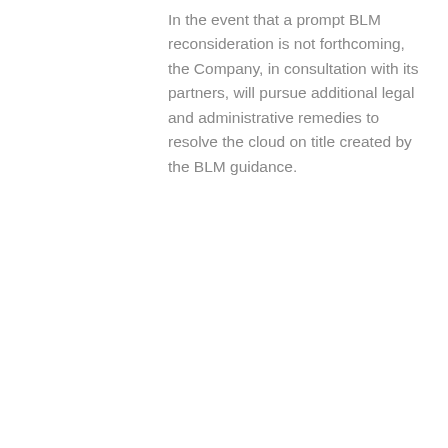In the event that a prompt BLM reconsideration is not forthcoming, the Company, in consultation with its partners, will pursue additional legal and administrative remedies to resolve the cloud on title created by the BLM guidance.
###
Sorry, the comment form is closed at this time.